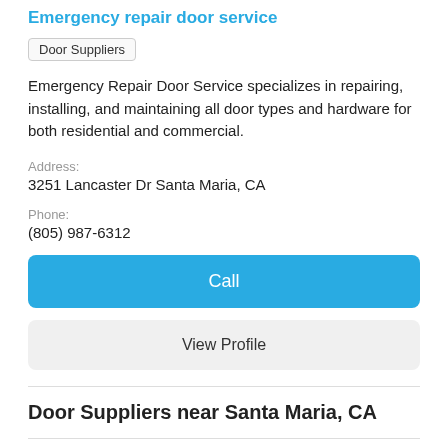Emergency repair door service
Door Suppliers
Emergency Repair Door Service specializes in repairing, installing, and maintaining all door types and hardware for both residential and commercial.
Address:
3251 Lancaster Dr Santa Maria, CA
Phone:
(805) 987-6312
Call
View Profile
Door Suppliers near Santa Maria, CA
[Figure (logo): Rigo's Windows logo in serif font inside a rectangular border]